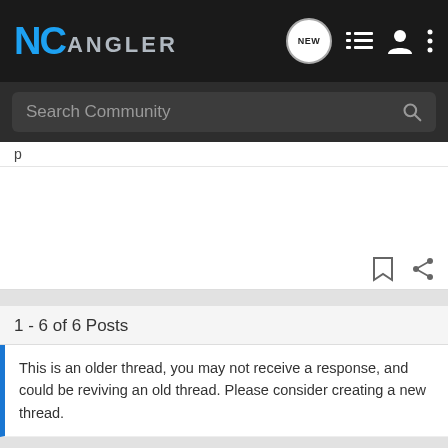NC Angler - Search Community
1 - 6 of 6 Posts
This is an older thread, you may not receive a response, and could be reviving an old thread. Please consider creating a new thread.
[Figure (screenshot): Advertisement banner: photo of people at shooting range on left, red background with text 'YOUR NEW FAVORITE SPORT - EXPLORE HOW TO RESPONSIBLY PARTICIPATE IN THE SHOOTING SPORTS. START HERE!' on right]